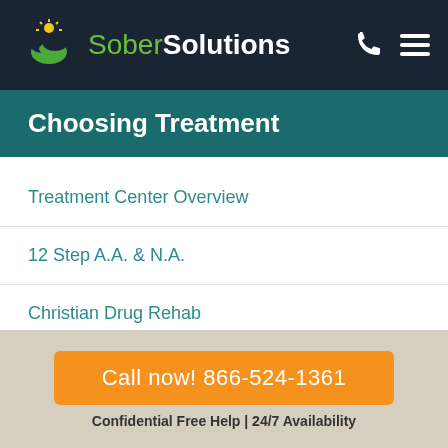Sober Solutions
Choosing Treatment
Treatment Center Overview
12 Step A.A. & N.A.
Christian Drug Rehab
Holistic Treatment Centers
Cognitive Rehab
Call now! 866-524-1361
Confidential Free Help | 24/7 Availability